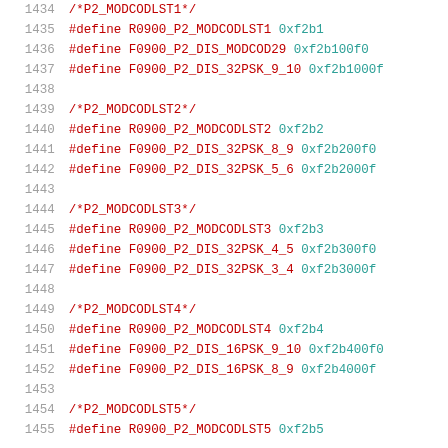1434   /*P2_MODCODLST1*/
1435   #define R0900_P2_MODCODLST1 0xf2b1
1436   #define F0900_P2_DIS_MODCOD29 0xf2b100f0
1437   #define F0900_P2_DIS_32PSK_9_10 0xf2b1000f
1438
1439   /*P2_MODCODLST2*/
1440   #define R0900_P2_MODCODLST2 0xf2b2
1441   #define F0900_P2_DIS_32PSK_8_9 0xf2b200f0
1442   #define F0900_P2_DIS_32PSK_5_6 0xf2b2000f
1443
1444   /*P2_MODCODLST3*/
1445   #define R0900_P2_MODCODLST3 0xf2b3
1446   #define F0900_P2_DIS_32PSK_4_5 0xf2b300f0
1447   #define F0900_P2_DIS_32PSK_3_4 0xf2b3000f
1448
1449   /*P2_MODCODLST4*/
1450   #define R0900_P2_MODCODLST4 0xf2b4
1451   #define F0900_P2_DIS_16PSK_9_10 0xf2b400f0
1452   #define F0900_P2_DIS_16PSK_8_9 0xf2b4000f
1453
1454   /*P2_MODCODLST5*/
1455   #define R0900_P2_MODCODLST5 0xf2b5